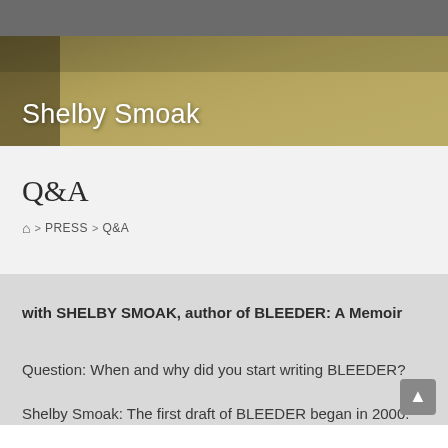[Figure (photo): Hero banner with blurred warm golden background, handwriting/paper texture visible]
Shelby Smoak
Q&A
🏠 > PRESS > Q&A
with SHELBY SMOAK, author of BLEEDER: A Memoir
Question: When and why did you start writing BLEEDER?
Shelby Smoak: The first draft of BLEEDER began in 2000.